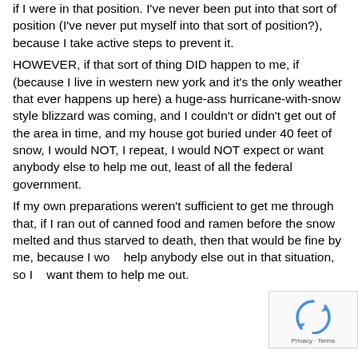if I were in that position. I've never been put into that sort of position (I've never put myself into that sort of position?), because I take active steps to prevent it.
HOWEVER, if that sort of thing DID happen to me, if (because I live in western new york and it's the only weather that ever happens up here) a huge-ass hurricane-with-snow style blizzard was coming, and I couldn't or didn't get out of the area in time, and my house got buried under 40 feet of snow, I would NOT, I repeat, I would NOT expect or want anybody else to help me out, least of all the federal government.
If my own preparations weren't sufficient to get me through that, if I ran out of canned food and ramen before the snow melted and thus starved to death, then that would be fine by me, because I wo... help anybody else out in that situation, so I... want them to help me out.